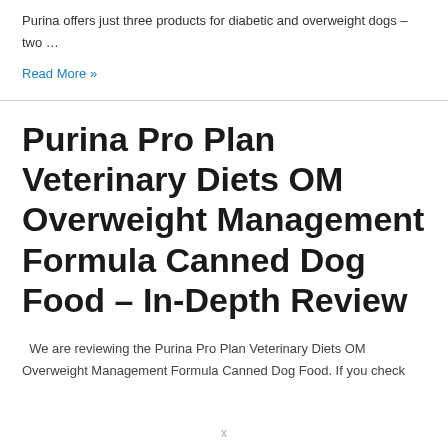Purina offers just three products for diabetic and overweight dogs – two …
Read More »
Purina Pro Plan Veterinary Diets OM Overweight Management Formula Canned Dog Food – In-Depth Review
We are reviewing the Purina Pro Plan Veterinary Diets OM Overweight Management Formula Canned Dog Food. If you check